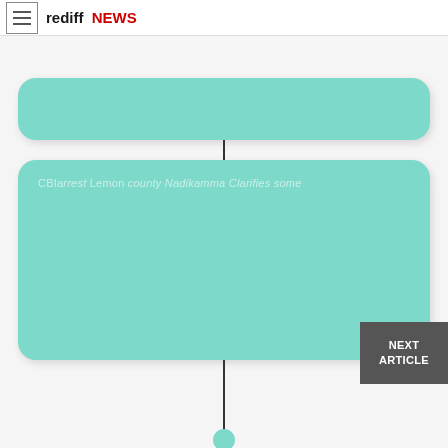rediff NEWS
[Figure (flowchart): A vertical flowchart/timeline UI showing two teal rounded-rectangle cards connected by a vertical line, ending with a teal circle dot. The bottom card contains faint light text: 'CBI arrest Lemon county Nadikamma Clarifies some'. There is a 'NEXT ARTICLE' button at bottom right.]